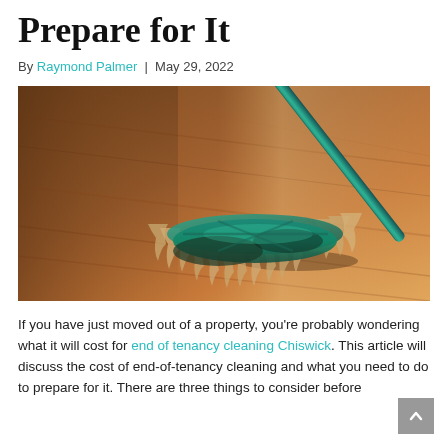Prepare for It
By Raymond Palmer | May 29, 2022
[Figure (photo): A teal/blue dust mop with frayed edges resting on a warm-toned wooden floor, photographed at a low angle with shallow depth of field.]
If you have just moved out of a property, you're probably wondering what it will cost for end of tenancy cleaning Chiswick. This article will discuss the cost of end-of-tenancy cleaning and what you need to do to prepare for it. There are three things to consider before